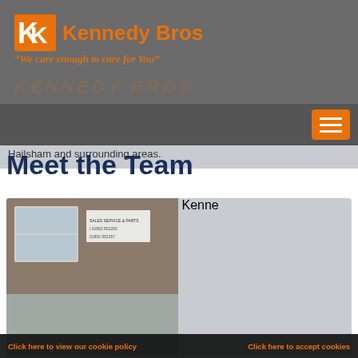[Figure (logo): Kennedy Bros company logo with orange K icons and company name, with tagline 'We care enough to care for You']
Meet the Team
[Figure (photo): Photo of Robin Kennedy, a man in a grey suit standing in front of cars outside a dealership]
Robin Kennedy
Sales Director
Robin, being the eldest Kennedy brother, has helped countless people with their vehicle requirements over the years, and is still here doing just that. Sourcing cars to customers needs and requests with no obligation. He provides a free collection and delivery service for our customers vehicles from their home or work place in Hailsham and surrounding areas.
Click here to view our cookie policy    Click here to accept cookies